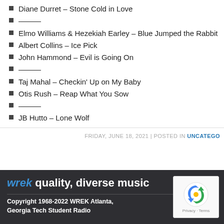Diane Durret – Stone Cold in Love
———
Elmo Williams & Hezekiah Earley – Blue Jumped the Rabbit
Albert Collins – Ice Pick
John Hammond – Evil is Going On
———
Taj Mahal – Checkin' Up on My Baby
Otis Rush – Reap What You Sow
———
JB Hutto – Lone Wolf
FRIDAY, JUNE 18, 2021 | POSTED IN UNCATEGO…
wrek quality, diverse music
Copyright 1968-2022 WREK Atlanta, Georgia Tech Student Radio